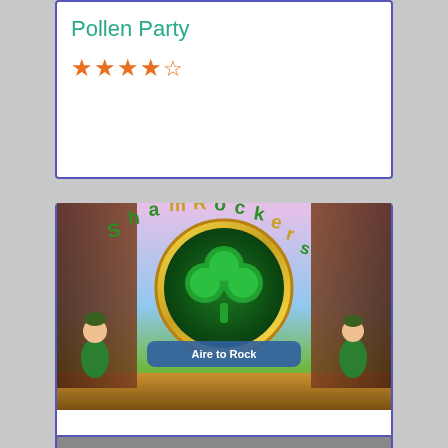Pollen Party
★★★★½
[Figure (illustration): Shamrockers slot game logo featuring a large green shamrock in a gold ring, with cartoon leprechaun characters on either side, text 'ShamRockers' arched above and 'Aire to Rock' on a banner below, colorful fantasy background]
Shamrockers
★★★★½